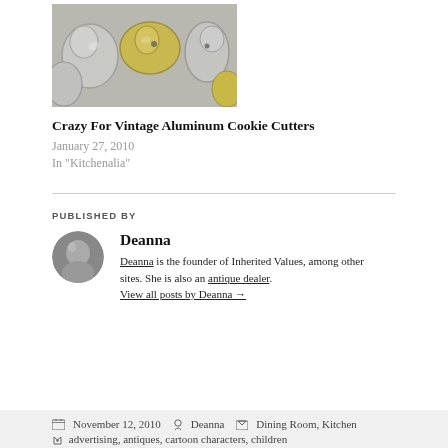[Figure (photo): Photo of vintage aluminum cookie cutters in animal/character shapes, silver and gold colored, on a light background]
Crazy For Vintage Aluminum Cookie Cutters
January 27, 2010
In "Kitchenalia"
PUBLISHED BY
[Figure (photo): Round avatar photo of Deanna, grayscale portrait]
Deanna
Deanna is the founder of Inherited Values, among other sites. She is also an antique dealer. View all posts by Deanna →
November 12, 2010   Deanna   Dining Room, Kitchen
advertising, antiques, cartoon characters, children